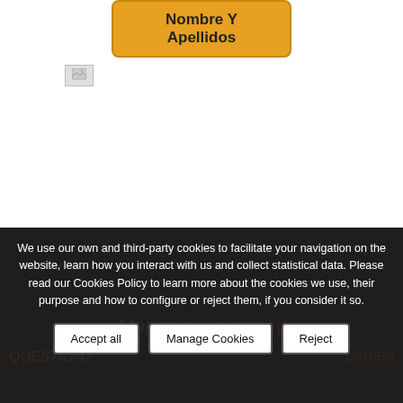[Figure (other): Orange rounded button labeled 'Nombre Y Apellidos' at top of page]
[Figure (other): Small grey placeholder image/icon below the button]
We use our own and third-party cookies to facilitate your navigation on the website, learn how you interact with us and collect statistical data. Please read our Cookies Policy to learn more about the cookies we use, their purpose and how to configure or reject them, if you consider it so.
Accept all
Manage Cookies
Reject